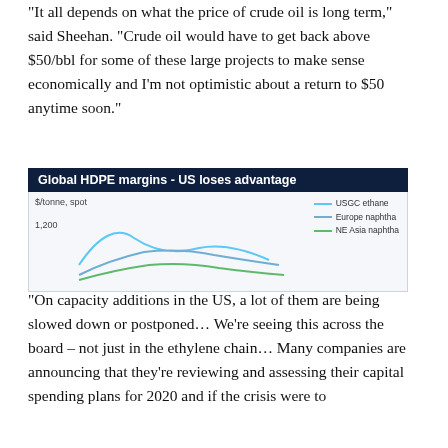“It all depends on what the price of crude oil is long term,” said Sheehan. “Crude oil would have to get back above $50/bbl for some of these large projects to make sense economically and I’m not optimistic about a return to $50 anytime soon.”
[Figure (continuous-plot): Line chart showing Global HDPE margins in $/tonne spot, with three series: USGC ethane (blue), Europe naphtha (medium blue), NE Asia naphtha (green). Y-axis shows 1,200 tick visible at top. Chart is partially cropped.]
“On capacity additions in the US, a lot of them are being slowed down or postponed… We’re seeing this across the board – not just in the ethylene chain… Many companies are announcing that they’re reviewing and assessing their capital spending plans for 2020 and if the crisis were to